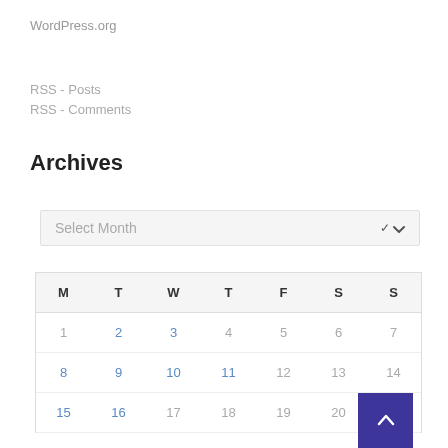WordPress.org
RSS - Posts
RSS - Comments
Archives
Select Month
| M | T | W | T | F | S | S |
| --- | --- | --- | --- | --- | --- | --- |
| 1 | 2 | 3 | 4 | 5 | 6 | 7 |
| 8 | 9 | 10 | 11 | 12 | 13 | 14 |
| 15 | 16 | 17 | 18 | 19 | 20 |  |